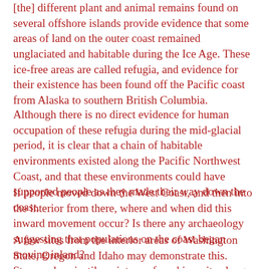[the] different plant and animal remains found on several offshore islands provide evidence that some areas of land on the outer coast remained unglaciated and habitable during the Ice Age. These ice-free areas are called refugia, and evidence for their existence has been found off the Pacific coast from Alaska to southern British Columbia.
Although there is no direct evidence for human occupation of these refugia during the mid-glacial period, it is clear that a chain of habitable environments existed along the Pacific Northwest Coast, and that these environments could have supported people as they made their way down the coast.
If people moved down the West Coast, and then into the interior from there, where and when did this inward movement occur? Is there any archaeology suggesting that populations on the coast began moving inland?
A few sites from the interior areas of Washington State, Oregon and Idaho may demonstrate this. Stemmed projectile points are found in a site along the Snake River in Washington State, with dates ranging from 8,800 to 10,800 years ago. Another site in